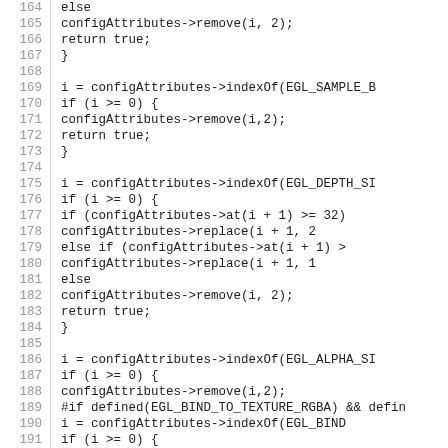Source code listing, lines 164–193, showing C++ code with configAttributes operations including remove, indexOf, replace calls for EGL_SAMPLE_B, EGL_DEPTH_SI, EGL_ALPHA_S, and EGL_BIND_TO_TEXTURE_RGBA constants.